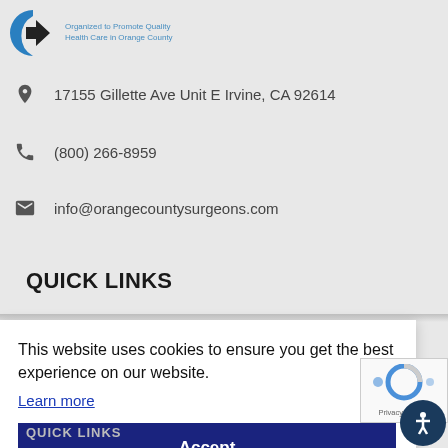[Figure (logo): Orange County medical organization logo with blue C shape and tagline 'Organized to Promote Quality Health Care in Orange County']
17155 Gillette Ave Unit E Irvine, CA 92614
(800) 266-8959
info@orangecountysurgeons.com
QUICK LINKS
This website uses cookies to ensure you get the best experience on our website.
Learn more
Accept
[Figure (other): Partial reCAPTCHA widget showing Privacy - Terms links]
[Figure (other): Accessibility button with person icon in dark blue circle]